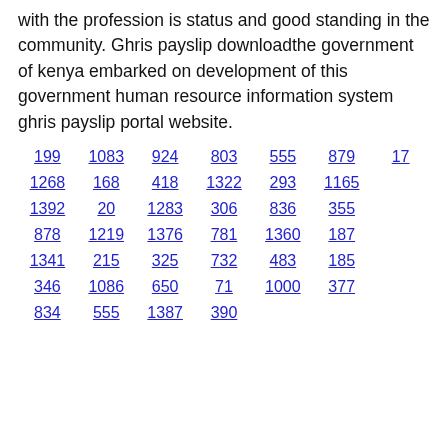with the profession is status and good standing in the community. Ghris payslip downloadthe government of kenya embarked on development of this government human resource information system ghris payslip portal website.
199 1083 924 803 555 879 17
1268 168 418 1322 293 1165
1392 20 1283 306 836 355
878 1219 1376 781 1360 187
1341 215 325 732 483 185
346 1086 650 71 1000 377
834 555 1387 390